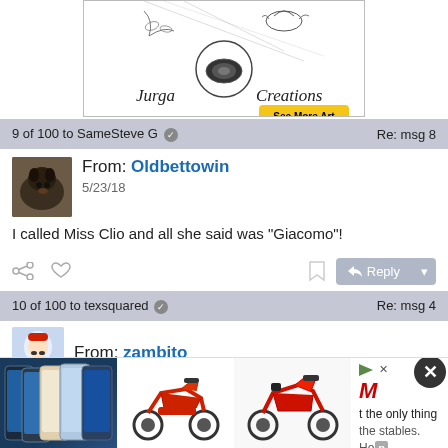[Figure (illustration): Advertisement banner for Jurga Creations art shop with sketch illustration and 'See More Art' yellow button]
9 of 100 to SameSteve G  Re: msg 8
[Figure (photo): Avatar photo of a dark-colored dog]
From: Oldbettowin
5/23/18
I called Miss Clio and all she said was "Giacomo"!
10 of 100 to texsquared  Re: msg 4
From: zambito
[Figure (photo): Advertisement with images of iPhones, red scooter, red motorcycle, M logo, and partial text 't the only thing the stables. Hop']